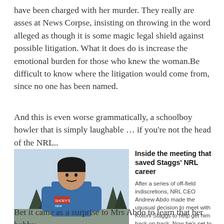have been charged with her murder. They really are asses at News Corpse, insisting on throwing in the word alleged as though it is some magic legal shield against possible litigation. What it does do is increase the emotional burden for those who knew the woman.Be difficult to know where the litigation would come from, since no one has been named.
And this is even worse grammatically, a schoolboy howler that is simply laughable … if you're not the head of the NRL..
[Figure (photo): Photo of a young man in a blue NSW Blues NRL jersey, standing outdoors with trees in the background.]
Inside the meeting that saved Staggs' NRL career
After a series of off-field indiscretions, NRL CEO Andrew Abdo made the unusual decision to meet with Kotoni Staggs to help get him back on track. Now he's set to make his NSW Blue…
READ MORE ›
Bet it came as a surprise to Mrs Abdo to learn that her hubby